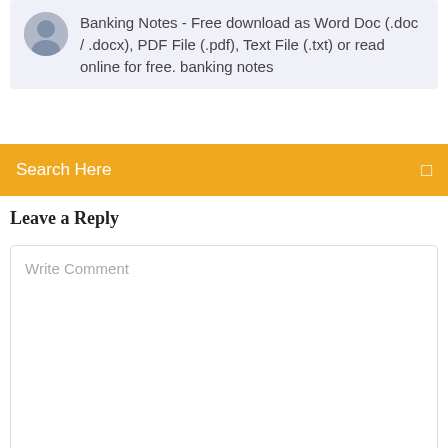Banking Notes - Free download as Word Doc (.doc / .docx), PDF File (.pdf), Text File (.txt) or read online for free. banking notes
Search Here
Leave a Reply
Write Comment